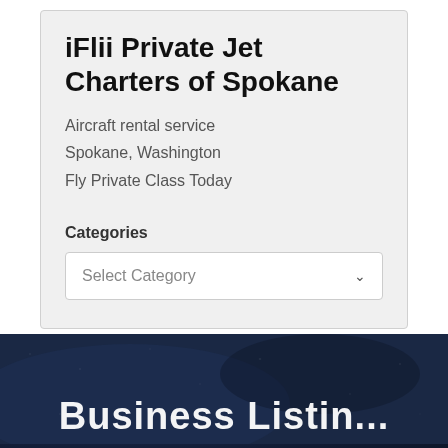iFlii Private Jet Charters of Spokane
Aircraft rental service
Spokane, Washington
Fly Private Class Today
Categories
Select Category
[Figure (screenshot): Dark navy blue textured background section at bottom of page, partially showing large white bold text (partial heading cut off at bottom edge)]